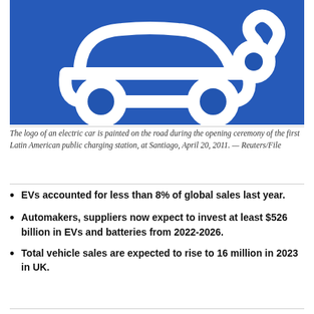[Figure (photo): Blue road surface with a white electric car symbol painted on it — the EV charging station logo showing a car outline with circular wheel symbols connected by a cable.]
The logo of an electric car is painted on the road during the opening ceremony of the first Latin American public charging station, at Santiago, April 20, 2011. — Reuters/File
EVs accounted for less than 8% of global sales last year.
Automakers, suppliers now expect to invest at least $526 billion in EVs and batteries from 2022-2026.
Total vehicle sales are expected to rise to 16 million in 2023 in UK.